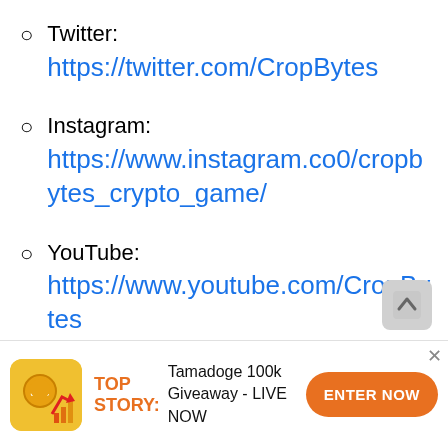Twitter: https://twitter.com/CropBytes
Instagram: https://www.instagram.co0/cropbytes_crypto_game/
YouTube: https://www.youtube.com/CropBytes
[Figure (screenshot): Bottom advertisement banner with Tamadoge icon, 'TOP STORY:' label in orange, 'Tamadoge 100k Giveaway - LIVE NOW' text, and orange 'ENTER NOW' button]